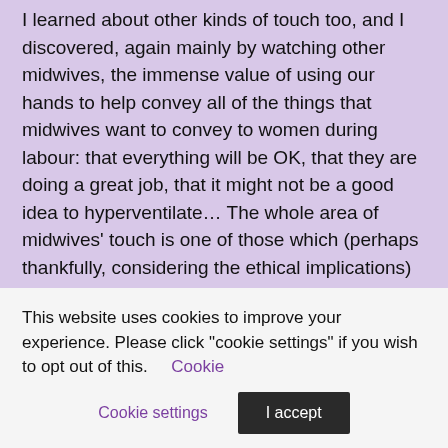I learned about other kinds of touch too, and I discovered, again mainly by watching other midwives, the immense value of using our hands to help convey all of the things that midwives want to convey to women during labour: that everything will be OK, that they are doing a great job, that it might not be a good idea to hyperventilate… The whole area of midwives' touch is one of those which (perhaps thankfully, considering the ethical implications) does not easily lend itself to investigation by RCT, but the value of appropriate touch surely cannot be doubted by anyone who has watched a skilful midwife in action.
And midwives do tend to be incredibly good "sacrum-rubbers". However hard we try to involve them in the process, it is not uncommon for a woman who has a male partner present during her labour to reject his efforts in favour of the midwife's back-
This website uses cookies to improve your experience. Please click "cookie settings" if you wish to opt out of this.